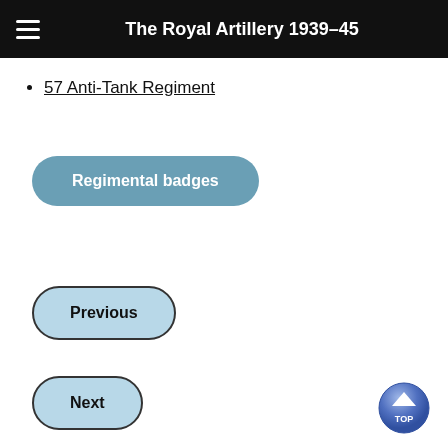The Royal Artillery 1939–45
57 Anti-Tank Regiment
Regimental badges
Previous
Next
[Figure (illustration): Blue circular TOP button with upward arrow]